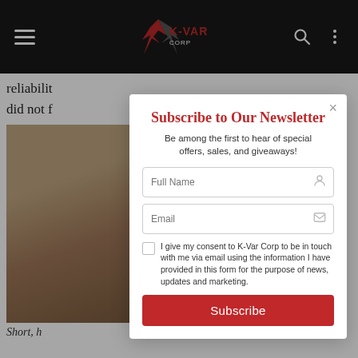K-VAR CORP navigation header
reliabilit did not f with the
[Figure (photo): Close-up photo of a wooden gun stock or rifle part on a grey background]
Short, h
Most of At 25 ya was eas several c cowboy action loads that are lighter than standard, standard pressure lead loads, and standard pressure personal
Subscribe to Our Newsletter
Be among the first to hear of special offers, sales, and giveaways!
Full Name
Email
I give my consent to K-Var Corp to be in touch with me via email using the information I have provided in this form for the purpose of news, updates and marketing.
Subscribe